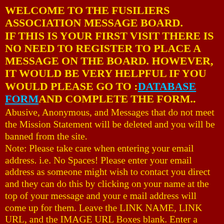WELCOME TO THE FUSILIERS ASSOCIATION MESSAGE BOARD. IF THIS IS YOUR FIRST VISIT THERE IS NO NEED TO REGISTER TO PLACE A MESSAGE ON THE BOARD. HOWEVER, IT WOULD BE VERY HELPFUL IF YOU WOULD PLEASE GO TO : DATABASE FORMAND COMPLETE THE FORM..
Abusive, Anonymous, and Messages that do not meet the Mission Statement will be deleted and you will be banned from the site. Note: Please take care when entering your email address. i.e. No Spaces! Please enter your email address as someone might wish to contact you direct and they can do this by clicking on your name at the top of your message and your e mail address will come up for them. Leave the LINK NAME, LINK URL, and the IMAGE URL Boxes blank. Enter a password of your choosing this will let you edit post after they have been posted. Once your message is ready to be posted Click PREVIEW POST to check what your message will look like once on site. If you are happy with with your message then Click POST. Your message